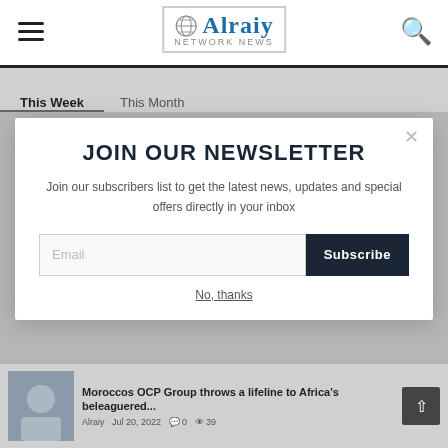Alraiy Network news
This Week | This Month
JOIN OUR NEWSLETTER
Join our subscribers list to get the latest news, updates and special offers directly in your inbox
No, thanks
Moroccos OCP Group throws a lifeline to Africa's beleaguered...
Alraiy  Jul 20, 2022   0   39